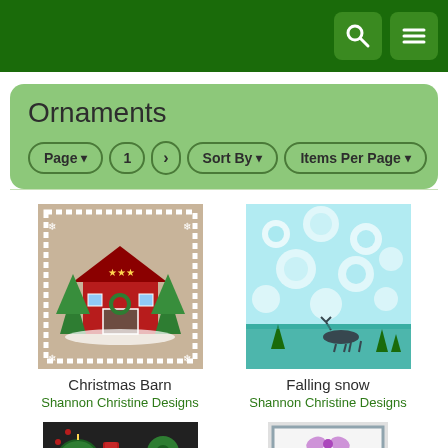Navigation bar with search and menu icons
Ornaments
Page ▾  1  >   Sort By ▾   Items Per Page ▾
[Figure (illustration): Cross-stitch Christmas Barn ornament design on beige fabric with red barn, green trees, snow border]
Christmas Barn
Shannon Christine Designs
[Figure (illustration): Cross-stitch Falling snow ornament design on light teal fabric with snowflakes and reindeer]
Falling snow
Shannon Christine Designs
[Figure (illustration): Cross-stitch dark ornament panel design with green and red decorations on dark background]
[Figure (illustration): Cross-stitch pink/purple ornament design in frame]